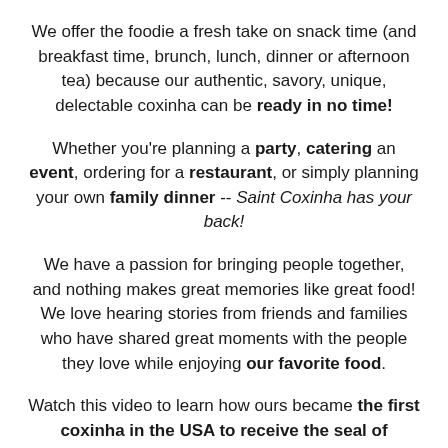We offer the foodie a fresh take on snack time (and breakfast time, brunch, lunch, dinner or afternoon tea) because our authentic, savory, unique, delectable coxinha can be ready in no time!
Whether you're planning a party, catering an event, ordering for a restaurant, or simply planning your own family dinner -- Saint Coxinha has your back!
We have a passion for bringing people together, and nothing makes great memories like great food! We love hearing stories from friends and families who have shared great moments with the people they love while enjoying our favorite food.
Watch this video to learn how ours became the first coxinha in the USA to receive the seal of approval from the USDA.